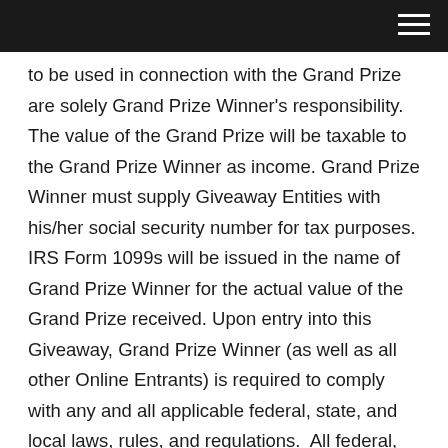to be used in connection with the Grand Prize are solely Grand Prize Winner's responsibility.  The value of the Grand Prize will be taxable to the Grand Prize Winner as income. Grand Prize Winner must supply Giveaway Entities with his/her social security number for tax purposes. IRS Form 1099s will be issued in the name of Grand Prize Winner for the actual value of the Grand Prize received. Upon entry into this Giveaway, Grand Prize Winner (as well as all other Online Entrants) is required to comply with any and all applicable federal, state, and local laws, rules, and regulations.  All federal, state and local taxes, and any other costs not specifically provided for in these Official Rules are solely the Grand Prize